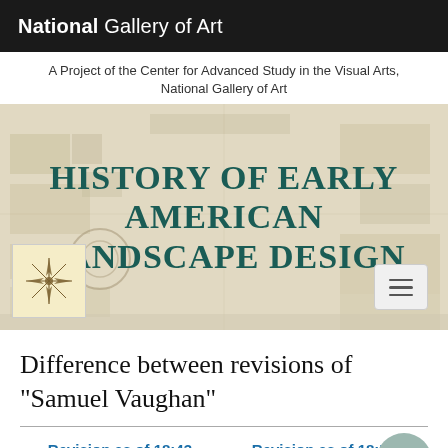National Gallery of Art
A Project of the Center for Advanced Study in the Visual Arts, National Gallery of Art
[Figure (other): Hero banner with decorative historical map background and large title text reading HISTORY OF EARLY AMERICAN LANDSCAPE DESIGN in teal serif font, with a compass rose logo thumbnail bottom-left and a hamburger menu button bottom-right]
Difference between revisions of "Samuel Vaughan"
Revision as of 18:43, February 19, 2015 (view
Revision as of 18:57, February 19, 2015 (view